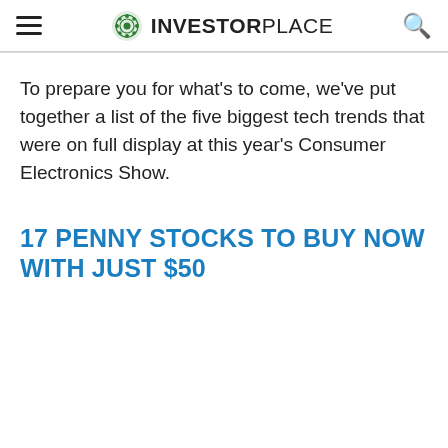INVESTORPLACE
To prepare you for what's to come, we've put together a list of the five biggest tech trends that were on full display at this year's Consumer Electronics Show.
17 PENNY STOCKS TO BUY NOW WITH JUST $50